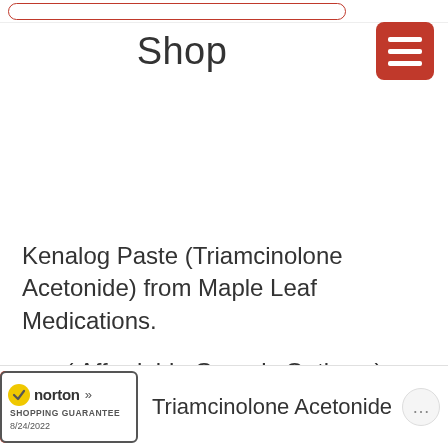Shop
Kenalog Paste (Triamcinolone Acetonide) from Maple Leaf Medications.
( Affordable Generic Options )
Triamcinolone Acetonide
[Figure (logo): Norton Shopping Guarantee badge with checkmark, date 8/24/2022]